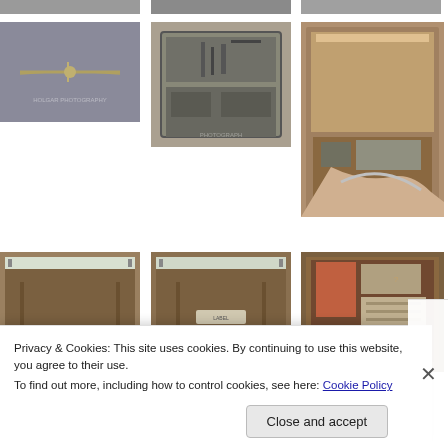[Figure (photo): Partial view of antique medical items - top strip]
[Figure (photo): Antique medical syringe on grey background with watermark]
[Figure (photo): Open metal tin case containing antique medical/surgical instruments]
[Figure (photo): Open wooden box with antique electrical medical device and cables]
[Figure (photo): Back panel of antique wooden electrical medical device]
[Figure (photo): Front view of antique wooden medical device cabinet with cord]
[Figure (photo): Interior of wooden case with antique medical electrical instruments]
Privacy & Cookies: This site uses cookies. By continuing to use this website, you agree to their use.
To find out more, including how to control cookies, see here: Cookie Policy
Close and accept